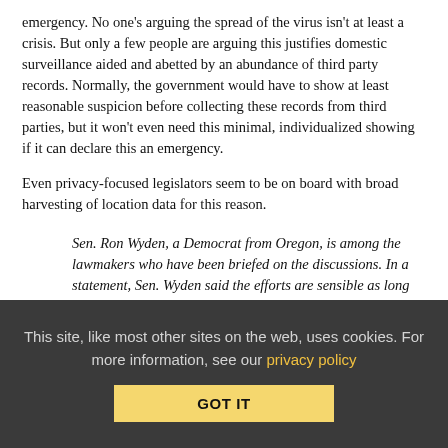emergency. No one's arguing the spread of the virus isn't at least a crisis. But only a few people are arguing this justifies domestic surveillance aided and abetted by an abundance of third party records. Normally, the government would have to show at least reasonable suspicion before collecting these records from third parties, but it won't even need this minimal, individualized showing if it can declare this an emergency.
Even privacy-focused legislators seem to be on board with broad harvesting of location data for this reason.
Sen. Ron Wyden, a Democrat from Oregon, is among the lawmakers who have been briefed on the discussions. In a statement, Sen. Wyden said the efforts are sensible as long as the appropriate conditions are in place. “There must be procedures to keep this information safe, to delete information once
This site, like most other sites on the web, uses cookies. For more information, see our privacy policy
GOT IT